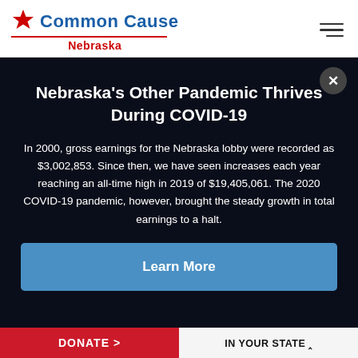[Figure (logo): Common Cause Nebraska logo with red star, blue text 'Common Cause', red underline, and red 'Nebraska' subtitle]
Nebraska's Other Pandemic Thrives During COVID-19
In 2000, gross earnings for the Nebraska lobby were recorded as $3,002,853. Since then, we have seen increases each year reaching an all-time high in 2019 of $19,405,061. The 2020 COVID-19 pandemic, however, brought the steady growth in total earnings to a halt.
Learn More
DONATE >
IN YOUR STATE ^